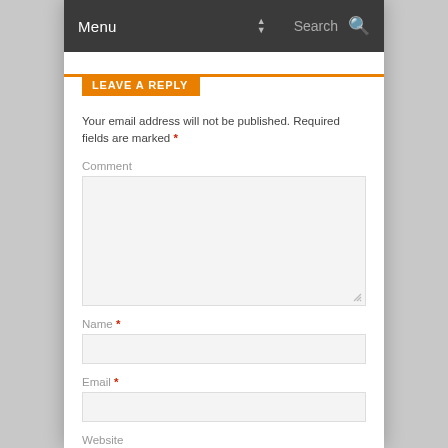Menu  Search
LEAVE A REPLY
Your email address will not be published. Required fields are marked *
Comment
Name *
Email *
Website